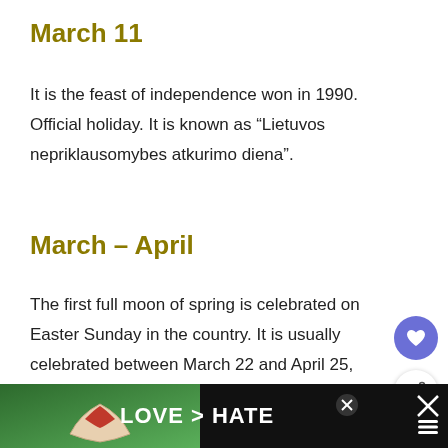March 11
It is the feast of independence won in 1990. Official holiday. It is known as “Lietuvos nepriklausomybes atkurimo diena”.
March – April
The first full moon of spring is celebrated on Easter Sunday in the country. It is usually celebrated between March 22 and April 25, although it varies from year to year as it is calculated according to the lunar calendar
[Figure (other): Advertisement banner at the bottom of the page showing hands forming a heart shape with text LOVE > HATE]
[Figure (other): UI overlay: heart/favorite button (purple circle), share button, and What's Next promotional box for Flag Maps | Mappr]